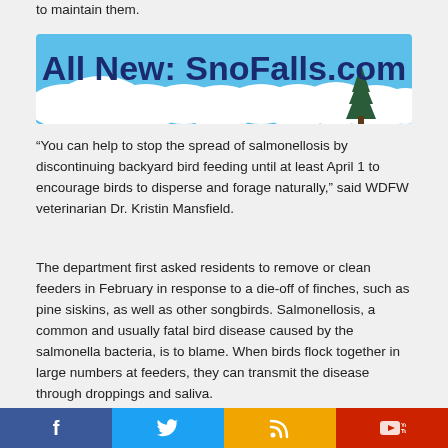to maintain them.
[Figure (illustration): Banner advertisement with blue sky and clouds background, dark blue bold text reading 'All New: SnoFalls.com' with a pine tree silhouette in lower right]
“You can help to stop the spread of salmonellosis by discontinuing backyard bird feeding until at least April 1 to encourage birds to disperse and forage naturally,” said WDFW veterinarian Dr. Kristin Mansfield.
The department first asked residents to remove or clean feeders in February in response to a die-off of finches, such as pine siskins, as well as other songbirds. Salmonellosis, a common and usually fatal bird disease caused by the salmonella bacteria, is to blame. When birds flock together in large numbers at feeders, they can transmit the disease through droppings and saliva.
The first sign that a bird may have salmonellosis is often a seemingly
[Figure (infographic): Social media share bar with four buttons: Facebook (blue), Twitter (light blue), RSS feed (orange/gold), YouTube (red)]